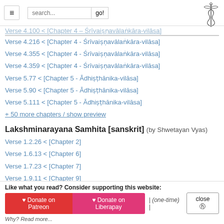Navigation header with hamburger menu, search bar, and logo
Verse 4.100 < [Chapter 4 – Śrīvaiṣṇavālaṅkāra-vilāsa]
Verse 4.216 < [Chapter 4 - Śrīvaiṣṇavālaṅkāra-vilāsa]
Verse 4.355 < [Chapter 4 - Śrīvaiṣṇavālaṅkāra-vilāsa]
Verse 4.359 < [Chapter 4 - Śrīvaiṣṇavālaṅkāra-vilāsa]
Verse 5.77 < [Chapter 5 - Ādhiṣṭhānika-vilāsa]
Verse 5.90 < [Chapter 5 - Ādhiṣṭhānika-vilāsa]
Verse 5.111 < [Chapter 5 - Ādhiṣṭhānika-vilāsa]
+ 50 more chapters / show preview
Lakshminarayana Samhita [sanskrit] (by Shwetayan Vyas)
Verse 1.2.26 < [Chapter 2]
Verse 1.6.13 < [Chapter 6]
Verse 1.7.23 < [Chapter 7]
Verse 1.9.11 < [Chapter 9]
Verse 1.9.38 < [Chapter 9]
Verse 1.9.41 < [Chapter 9]
Verse 1.14.6 < [Chapter 14]
Like what you read? Consider supporting this website: ♥ Donate on Patreon  ♥ Donate on Liberapay | (one-time) | close ⊗  Why? Read more...